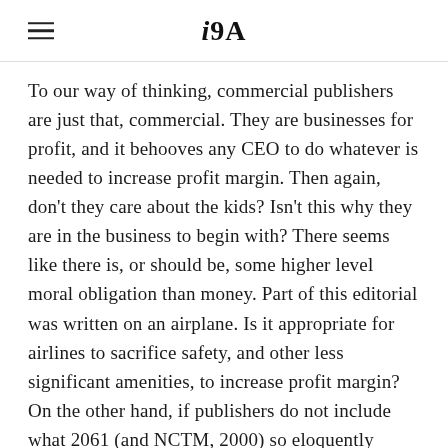iA
To our way of thinking, commercial publishers are just that, commercial. They are businesses for profit, and it behooves any CEO to do whatever is needed to increase profit margin. Then again, don't they care about the kids? Isn't this why they are in the business to begin with? There seems like there is, or should be, some higher level moral obligation than money. Part of this editorial was written on an airplane. Is it appropriate for airlines to sacrifice safety, and other less significant amenities, to increase profit margin? On the other hand, if publishers do not include what 2061 (and NCTM, 2000) so eloquently argues for, is it accurate to say